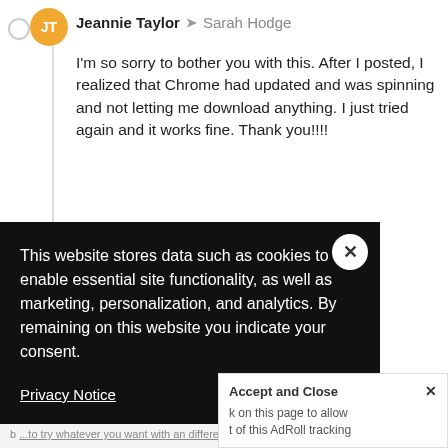Jeannie Taylor → Sarah Hodge
I'm so sorry to bother you with this. After I posted, I realized that Chrome had updated and was spinning and not letting me download anything. I just tried again and it works fine. Thank you!!!!
Jeannie
Reply · Actions · 7 months ago
This website stores data such as cookies to enable essential site functionality, as well as marketing, personalization, and analytics. By remaining on this website you indicate your consent.
Privacy Notice
Accept and Close ✕
k on this page to allow t of this AdRoll tracking
Y A b